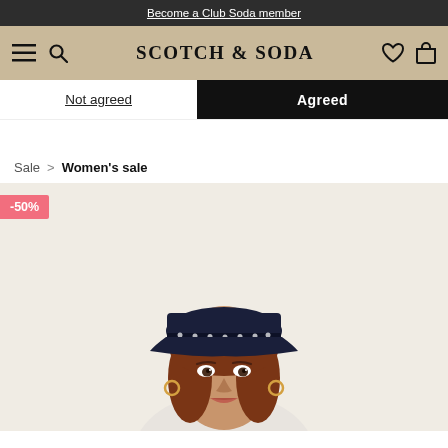Become a Club Soda member
SCOTCH & SODA
Not agreed
Agreed
Sale > Women's sale
[Figure (photo): Woman wearing a dark navy cap/hat with embellishments, looking at camera, wearing a light top, against a beige/cream background. Sale badge showing -50% in top left corner.]